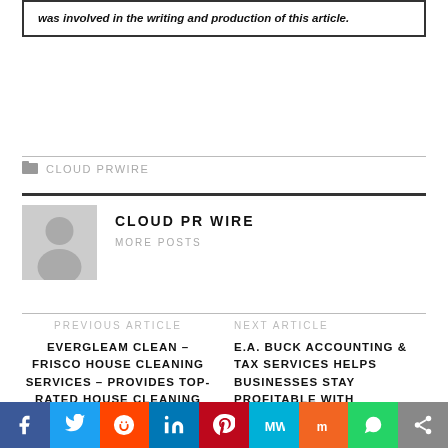was involved in the writing and production of this article.
CLOUD PRWIRE
[Figure (illustration): Generic user avatar placeholder image (gray silhouette of a person on light gray background)]
CLOUD PR WIRE
MORE POSTS
PREVIOUS ARTICLE
EVERGLEAM CLEAN – FRISCO HOUSE CLEANING SERVICES – PROVIDES TOP-RATED HOUSE CLEANING SERVICES IN CELINA, TX
NEXT ARTICLE
E.A. BUCK ACCOUNTING & TAX SERVICES HELPS BUSINESSES STAY PROFITABLE WITH ACCOUNTING & TAX
[Figure (infographic): Social media sharing bar with icons for Facebook, Twitter, Reddit, LinkedIn, Pinterest, MeWe, Mix, WhatsApp, Share]